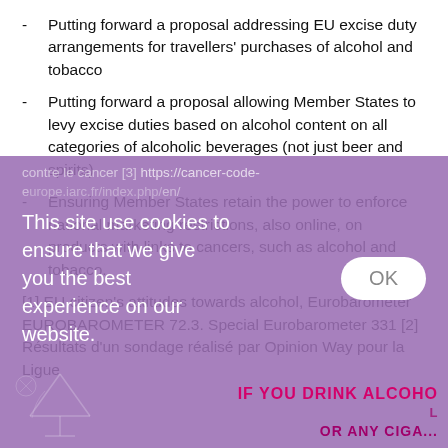- Putting forward a proposal addressing EU excise duty arrangements for travellers' purchases of alcohol and tobacco
- Putting forward a proposal allowing Member States to levy excise duties based on alcohol content on all categories of alcoholic beverages (not just beer and spirits)
- Ensuring Member States retain the power to enforce national marketing restrictions, also online, on products with links to cancers, such as alcohol and tobacco.
[1] EU citizen's attitudes towards alcohol, Eurobarometer EUROBAROMETER 72.3. Special Eurobarometer 331 [2] Résultats d'un sondage réalisé par Opinion Way pour la Ligue contre le cancer [3] https://cancer-code-europe.iarc.fr/index.php/en/
[Figure (screenshot): Cookie consent overlay with purple/violet semi-transparent background. Text reads: 'This site use cookies to ensure that we give you the best experience on our website.' with an OK button. Below shows partial cocktail glass illustration and 'IF YOU DRINK ALCOHO...' text in pink/purple.]